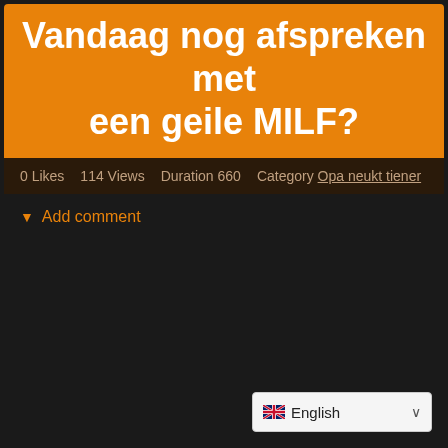Vandaag nog afspreken met een geile MILF?
0 Likes   114 Views   Duration 660   Category Opa neukt tiener
▾ Add comment